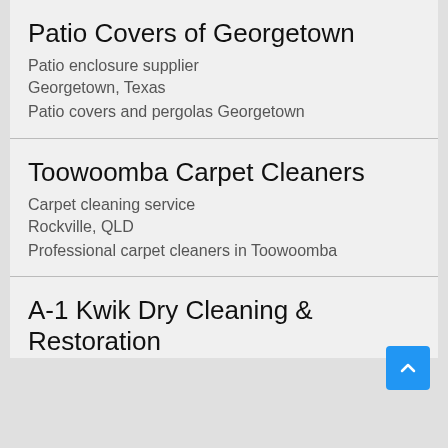Patio Covers of Georgetown
Patio enclosure supplier
Georgetown, Texas
Patio covers and pergolas Georgetown
Toowoomba Carpet Cleaners
Carpet cleaning service
Rockville, QLD
Professional carpet cleaners in Toowoomba
A-1 Kwik Dry Cleaning & Restoration